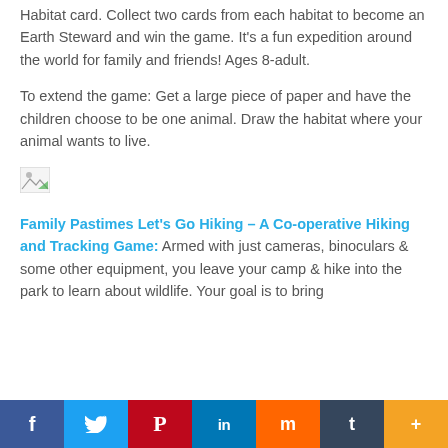Habitat card. Collect two cards from each habitat to become an Earth Steward and win the game. It's a fun expedition around the world for family and friends! Ages 8-adult.
To extend the game: Get a large piece of paper and have the children choose to be one animal. Draw the habitat where your animal wants to live.
[Figure (other): Broken image placeholder icon]
Family Pastimes Let's Go Hiking – A Co-operative Hiking and Tracking Game: Armed with just cameras, binoculars & some other equipment, you leave your camp & hike into the park to learn about wildlife. Your goal is to bring
Social share bar: Facebook, Twitter, Pinterest, LinkedIn, Mix, Tumblr, More